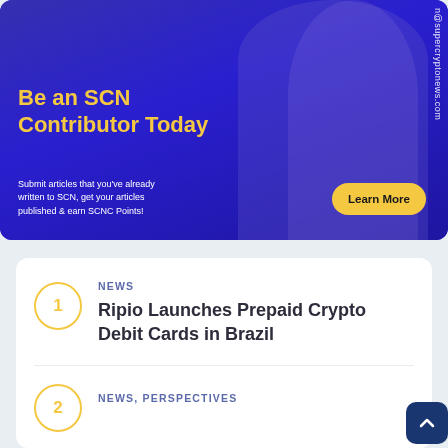[Figure (illustration): Blue/purple advertisement banner with a person writing in background. Yellow bold text reads 'Be an SCN Contributor Today'. White body text: 'Submit articles that you've already written to SCN, get your articles published & earn SCNC Points!' with a yellow 'Learn More' button. Vertical text on right edge reads '@supercryptonews.com'.]
NEWS
Ripio Launches Prepaid Crypto Debit Cards in Brazil
NEWS, PERSPECTIVES